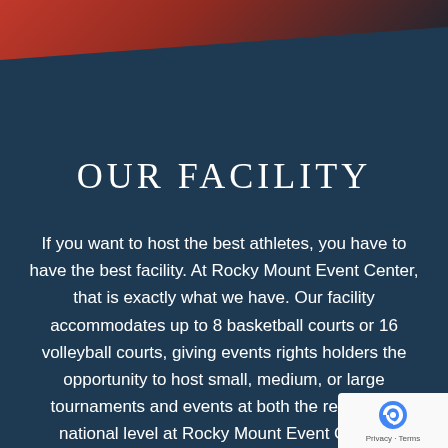[Figure (photo): Top diagonal band with dark red/crimson color transitioning to dark navy blue background, with a partial image of a person at the top right corner]
OUR FACILITY
If you want to host the best athletes, you have to have the best facility. At Rocky Mount Event Center, that is exactly what we have. Our facility accommodates up to 8 basketball courts or 16 volleyball courts, giving events rights holders the opportunity to host small, medium, or large tournaments and events at both the regional and national level at Rocky Mount Event Center.